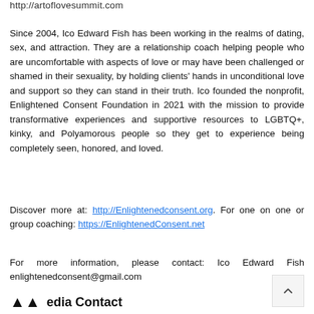http://artoflovesummit.com
Since 2004, Ico Edward Fish has been working in the realms of dating, sex, and attraction. They are a relationship coach helping people who are uncomfortable with aspects of love or may have been challenged or shamed in their sexuality, by holding clients' hands in unconditional love and support so they can stand in their truth. Ico founded the nonprofit, Enlightened Consent Foundation in 2021 with the mission to provide transformative experiences and supportive resources to LGBTQ+, kinky, and Polyamorous people so they get to experience being completely seen, honored, and loved.
Discover more at: http://Enlightenedconsent.org. For one on one or group coaching: https://EnlightenedConsent.net
For more information, please contact: Ico Edward Fish enlightenedconsent@gmail.com
Media Contact